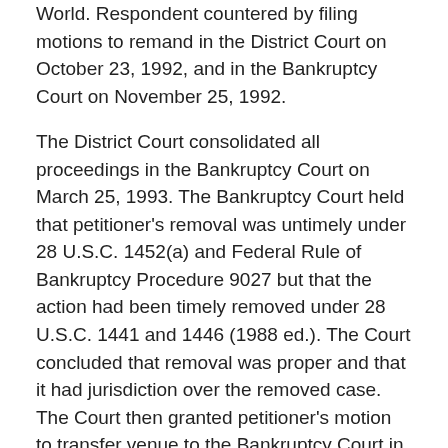World. Respondent countered by filing motions to remand in the District Court on October 23, 1992, and in the Bankruptcy Court on November 25, 1992.
The District Court consolidated all proceedings in the Bankruptcy Court on March 25, 1993. The Bankruptcy Court held that petitioner's removal was untimely under 28 U.S.C. 1452(a) and Federal Rule of Bankruptcy Procedure 9027 but that the action had been timely removed under 28 U.S.C. 1441 and 1446 (1988 ed.). The Court concluded that removal was proper and that it had jurisdiction over the removed case. The Court then granted petitioner's motion to transfer venue to the Bankruptcy Court in the Southern District of New York.
Respondent appealed to the District Court in the Northern District of Ohio. The District Court found removal under both 1441(a) and 1452(a) to be untimely and held that the Bankruptcy Court lacked jurisdiction over the case. The